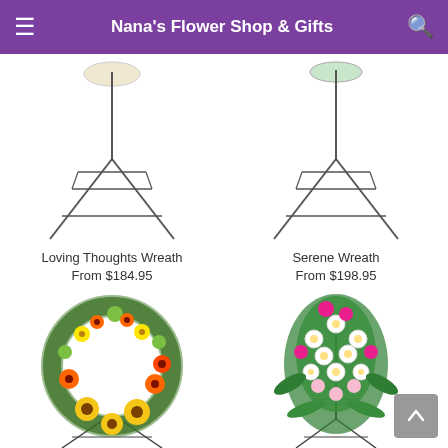Nana's Flower Shop & Gifts
[Figure (photo): Loving Thoughts Wreath on a metal easel stand, partially cropped at top]
Loving Thoughts Wreath
From $184.95
[Figure (photo): Serene Wreath on a metal easel stand, partially cropped at top]
Serene Wreath
From $198.95
[Figure (photo): Colorful sunflower and gerbera daisy wreath on a metal easel stand with yellow, orange, and green flowers]
[Figure (photo): White and pink floral spray arrangement with roses and daisies on a metal easel stand]